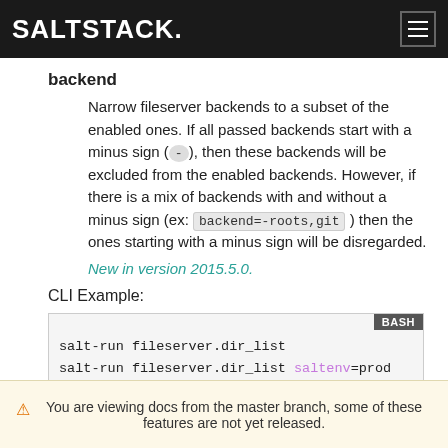SALTSTACK.
backend
Narrow fileserver backends to a subset of the enabled ones. If all passed backends start with a minus sign ( - ), then these backends will be excluded from the enabled backends. However, if there is a mix of backends with and without a minus sign (ex: backend=-roots,git ) then the ones starting with a minus sign will be disregarded.
New in version 2015.5.0.
CLI Example:
[Figure (screenshot): BASH code block showing: salt-run fileserver.dir_list / salt-run fileserver.dir_list saltenv=prod / salt-run fileserver.dir_list saltenv=dev (partially visible)]
⚠ You are viewing docs from the master branch, some of these features are not yet released.